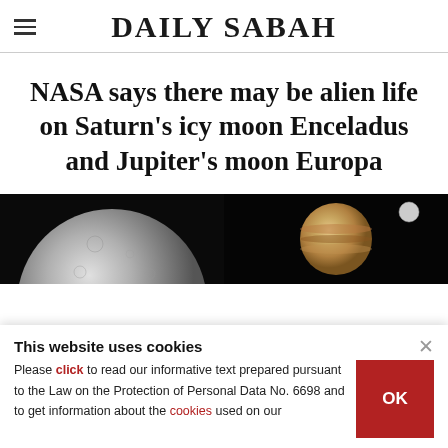DAILY SABAH
NASA says there may be alien life on Saturn's icy moon Enceladus and Jupiter's moon Europa
[Figure (photo): Two side-by-side space photos on black background: left shows Saturn's icy moon Enceladus (grey cratered surface), right shows Jupiter and its moon Europa against dark space.]
This website uses cookies
Please click to read our informative text prepared pursuant to the Law on the Protection of Personal Data No. 6698 and to get information about the cookies used on our